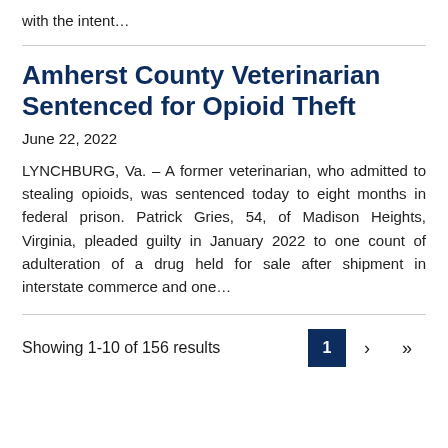with the intent…
Amherst County Veterinarian Sentenced for Opioid Theft
June 22, 2022
LYNCHBURG, Va. – A former veterinarian, who admitted to stealing opioids, was sentenced today to eight months in federal prison. Patrick Gries, 54, of Madison Heights, Virginia, pleaded guilty in January 2022 to one count of adulteration of a drug held for sale after shipment in interstate commerce and one…
Showing 1-10 of 156 results